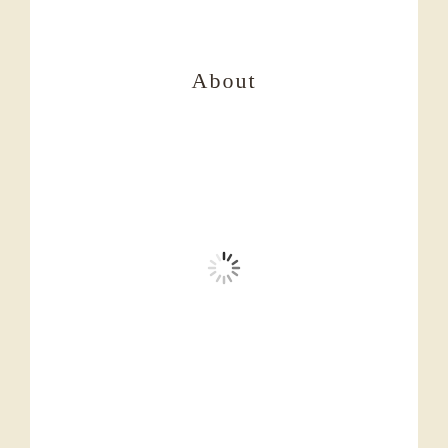About
[Figure (illustration): A spinning loading indicator (spinner) with radial lines in varying shades from dark to light gray, indicating a loading state.]